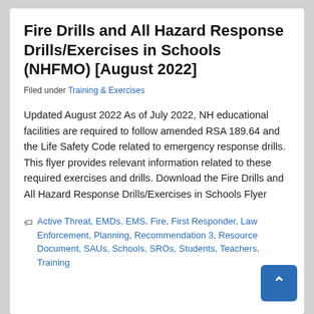Fire Drills and All Hazard Response Drills/Exercises in Schools (NHFMO) [August 2022]
Filed under Training & Exercises
Updated August 2022 As of July 2022, NH educational facilities are required to follow amended RSA 189.64 and the Life Safety Code related to emergency response drills. This flyer provides relevant information related to these required exercises and drills. Download the Fire Drills and All Hazard Response Drills/Exercises in Schools Flyer
Active Threat, EMDs, EMS, Fire, First Responder, Law Enforcement, Planning, Recommendation 3, Resource Document, SAUs, Schools, SROs, Students, Teachers, Training